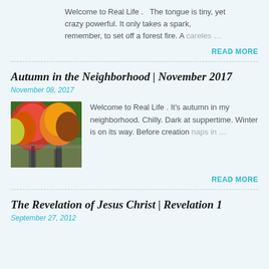Welcome to Real Life . The tongue is tiny, yet crazy powerful. It only takes a spark, remember, to set off a forest fire. A careles …
READ MORE
Autumn in the Neighborhood | November 2017
November 08, 2017
[Figure (photo): Photo of a tree-lined street in autumn with red, orange, and yellow foliage]
Welcome to Real Life . It's autumn in my neighborhood. Chilly. Dark at suppertime. Winter is on its way. Before creation naps in …
READ MORE
The Revelation of Jesus Christ | Revelation 1
September 27, 2012